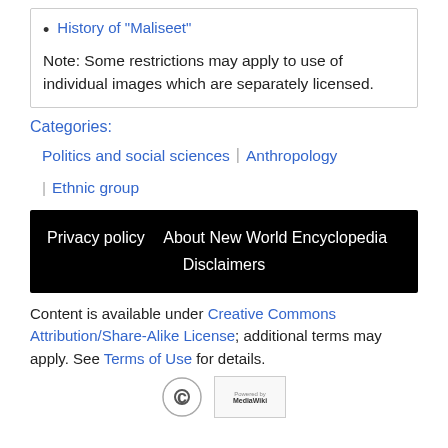History of "Maliseet"
Note: Some restrictions may apply to use of individual images which are separately licensed.
Categories:
Politics and social sciences
Anthropology
Ethnic group
Privacy policy   About New World Encyclopedia   Disclaimers
Content is available under Creative Commons Attribution/Share-Alike License; additional terms may apply. See Terms of Use for details.
[Figure (logo): Creative Commons and MediaWiki powered logos]